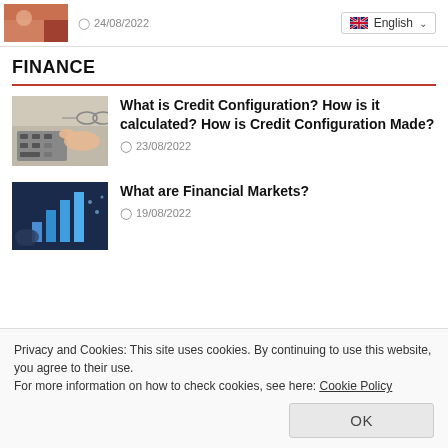[Figure (photo): Thumbnail image cropped at top, partially visible, warm tones]
24/08/2022
[Figure (screenshot): English language dropdown selector with UK flag]
FINANCE
[Figure (photo): Person pressing calculator keys, glasses and financial documents visible]
What is Credit Configuration? How is it calculated? How is Credit Configuration Made?
23/08/2022
[Figure (photo): Person holding bar chart graphic, financial markets concept image]
What are Financial Markets?
19/08/2022
Privacy and Cookies: This site uses cookies. By continuing to use this website, you agree to their use.
For more information on how to check cookies, see here: Cookie Policy